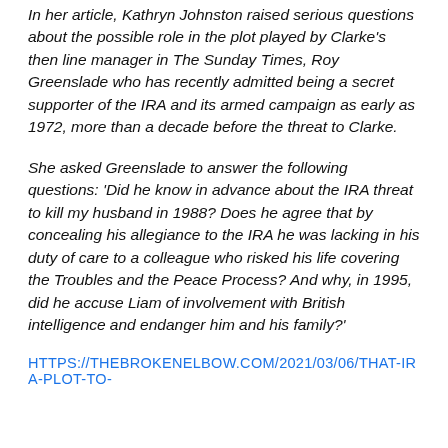In her article, Kathryn Johnston raised serious questions about the possible role in the plot played by Clarke's then line manager in The Sunday Times, Roy Greenslade who has recently admitted being a secret supporter of the IRA and its armed campaign as early as 1972, more than a decade before the threat to Clarke.
She asked Greenslade to answer the following questions: 'Did he know in advance about the IRA threat to kill my husband in 1988? Does he agree that by concealing his allegiance to the IRA he was lacking in his duty of care to a colleague who risked his life covering the Troubles and the Peace Process? And why, in 1995, did he accuse Liam of involvement with British intelligence and endanger him and his family?'
HTTPS://THEBROKENELBOW.COM/2021/03/06/THAT-IRA-PLOT-TO-